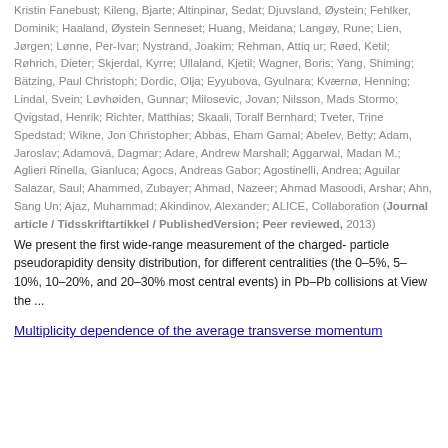Kristin Fanebust; Kileng, Bjarte; Altinpinar, Sedat; Djuvsland, Øystein; Fehlker, Dominik; Haaland, Øystein Senneset; Huang, Meidana; Langøy, Rune; Lien, Jørgen; Lønne, Per-Ivar; Nystrand, Joakim; Rehman, Attiq ur; Røed, Ketil; Røhrich, Dieter; Skjerdal, Kyrre; Ullaland, Kjetil; Wagner, Boris; Yang, Shiming; Bätzing, Paul Christoph; Dordic, Olja; Eyyubova, Gyulnara; Kværnø, Henning; Lindal, Svein; Løvhøiden, Gunnar; Milosevic, Jovan; Nilsson, Mads Stormo; Qvigstad, Henrik; Richter, Matthias; Skaali, Toralf Bernhard; Tveter, Trine Spedstad; Wikne, Jon Christopher; Abbas, Eham Gamal; Abelev, Betty; Adam, Jaroslav; Adamová, Dagmar; Adare, Andrew Marshall; Aggarwal, Madan M.; Aglieri Rinella, Gianluca; Agocs, Andreas Gabor; Agostinelli, Andrea; Aguilar Salazar, Saul; Ahammed, Zubayer; Ahmad, Nazeer; Ahmad Masoodi, Arshar; Ahn, Sang Un; Ajaz, Muhammad; Akindinov, Alexander; ALICE, Collaboration (Journal article / Tidsskriftartikkel / PublishedVersion; Peer reviewed, 2013)
We present the first wide-range measurement of the charged-particle pseudorapidity density distribution, for different centralities (the 0–5%, 5–10%, 10–20%, and 20–30% most central events) in Pb–Pb collisions at View the ...
Multiplicity dependence of the average transverse momentum